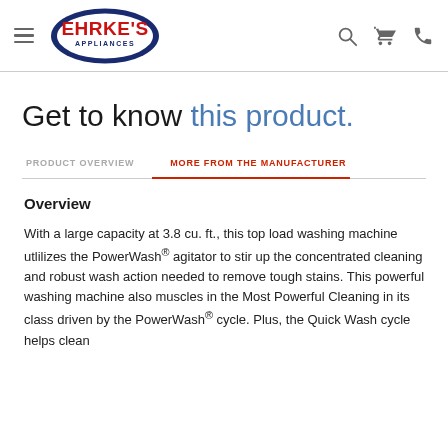Ehrke's Appliances — navigation header with menu, logo, search, cart, and phone icons
Get to know this product.
PRODUCT OVERVIEW | MORE FROM THE MANUFACTURER
Overview
With a large capacity at 3.8 cu. ft., this top load washing machine utlilizes the PowerWash® agitator to stir up the concentrated cleaning and robust wash action needed to remove tough stains. This powerful washing machine also muscles in the Most Powerful Cleaning in its class driven by the PowerWash® cycle. Plus, the Quick Wash cycle helps clean